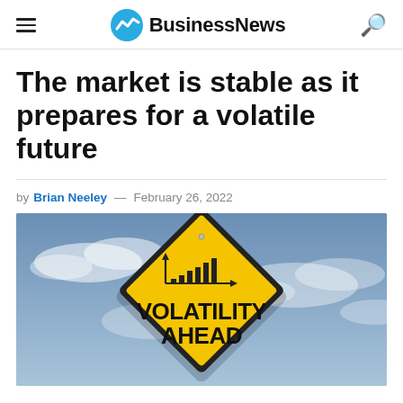BusinessNews
The market is stable as it prepares for a volatile future
by Brian Neeley — February 26, 2022
[Figure (photo): Yellow diamond-shaped road sign reading 'VOLATILITY AHEAD' with a bar chart and arrow graphic on it, against a blue cloudy sky background.]